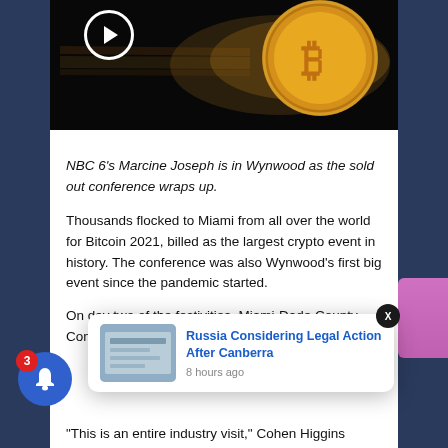[Figure (photo): Bitcoin gold coin with motion blur on dark background with play button overlay]
NBC 6's Marcine Joseph is in Wynwood as the sold out conference wraps up.
Thousands flocked to Miami from all over the world for Bitcoin 2021, billed as the largest crypto event in history. The conference was also Wynwood's first big event since the pandemic started.
On day two of the festivities, Miami-Dade County Commissioner...pening re...
[Figure (screenshot): Push notification popup: Russia Considering Legal Action After Canberra, 8 hours ago]
"This is an entire industry visit," Cohen Higgins